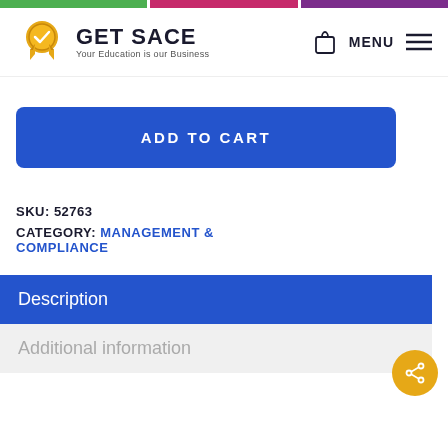[Figure (logo): Get SACE logo with gold badge/ribbon icon and text 'GET SACE — Your Education is our Business']
MENU
ADD TO CART
SKU: 52763
CATEGORY: MANAGEMENT & COMPLIANCE
Description
Additional information